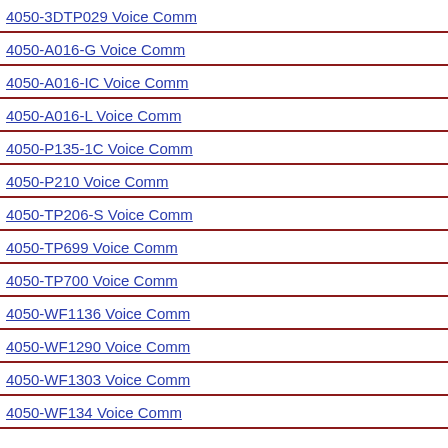4050-3DTP029 Voice Comm
4050-A016-G Voice Comm
4050-A016-IC Voice Comm
4050-A016-L Voice Comm
4050-P135-1C Voice Comm
4050-P210 Voice Comm
4050-TP206-S Voice Comm
4050-TP699 Voice Comm
4050-TP700 Voice Comm
4050-WF1136 Voice Comm
4050-WF1290 Voice Comm
4050-WF1303 Voice Comm
4050-WF134 Voice Comm